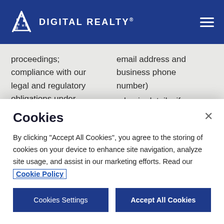[Figure (logo): Digital Realty logo with white building icon and company name in white on dark blue header bar]
proceedings; compliance with our legal and regulatory obligations under applicable law
email address and business phone number)
○ Login details, if applicable
Cookies
By clicking "Accept All Cookies", you agree to the storing of cookies on your device to enhance site navigation, analyze site usage, and assist in our marketing efforts. Read our Cookie Policy
Cookies Settings
Accept All Cookies